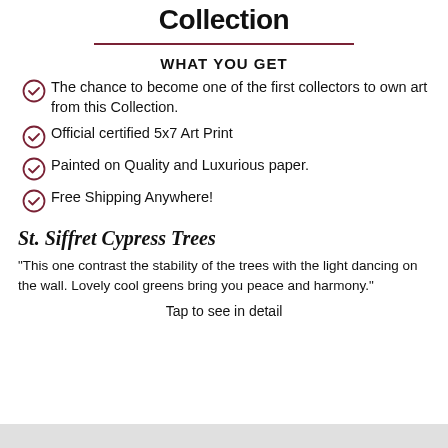Collection
WHAT YOU GET
The chance to become one of the first collectors to own art from this Collection.
Official certified 5x7 Art Print
Painted on Quality and Luxurious paper.
Free Shipping Anywhere!
St. Siffret Cypress Trees
"This one contrast the stability of the trees with the light dancing on the wall. Lovely cool greens bring you peace and harmony."
Tap to see in detail